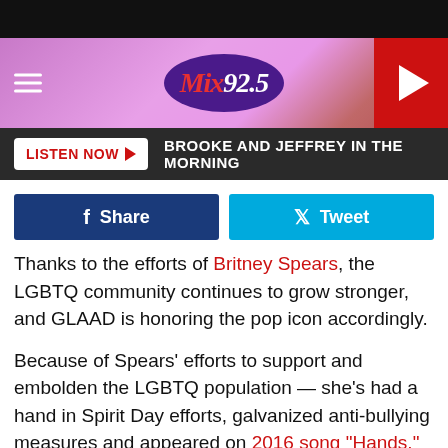[Figure (screenshot): Mix 92.5 radio station website header with pink/purple gradient banner, hamburger menu icon, Mix 92.5 oval logo, and red play button on right]
[Figure (screenshot): Dark navigation bar with white LISTEN NOW button (red text, play arrow) and text: BROOKE AND JEFFREY IN THE MORNING]
[Figure (screenshot): Social sharing buttons: dark blue Facebook Share button and cyan Twitter Tweet button]
Thanks to the efforts of Britney Spears, the LGBTQ community continues to grow stronger, and GLAAD is honoring the pop icon accordingly.
Because of Spears' efforts to support and embolden the LGBTQ population — she's had a hand in Spirit Day efforts, galvanized anti-bullying measures and appeared on 2016 song "Hands," which memorialized the victims of the Pulse massacre — GLAAD has named her its 2018 recipient of the Vanguard Award, according to Entertainment Weekly.